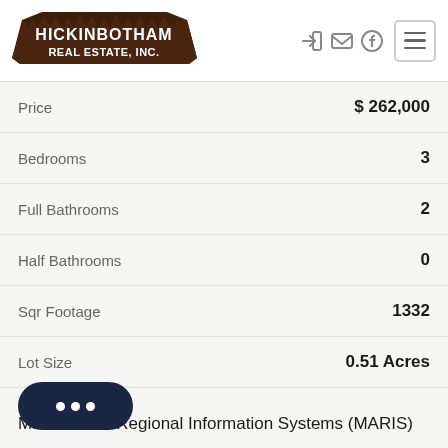[Figure (logo): Hickinbotham Real Estate, Inc. logo with brown stylized text and tree/rooftop design]
| Property Detail | Value |
| --- | --- |
| Price | $ 262,000 |
| Bedrooms | 3 |
| Full Bathrooms | 2 |
| Half Bathrooms | 0 |
| Sqr Footage | 1332 |
| Lot Size | 0.51 Acres |
DATA SOURCE:
Mid America Regional Information Systems (MARIS)